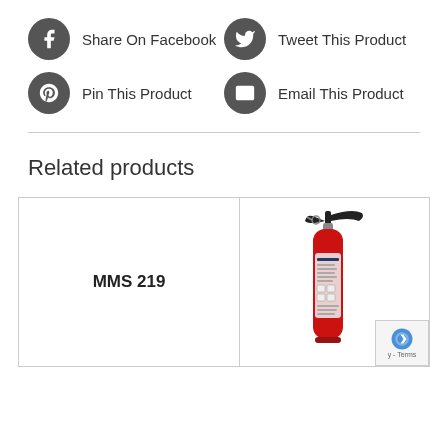Share On Facebook
Tweet This Product
Pin This Product
Email This Product
Related products
MMS 219
[Figure (photo): Red fire extinguisher with black handle and hose nozzle, FLAMEX brand label]